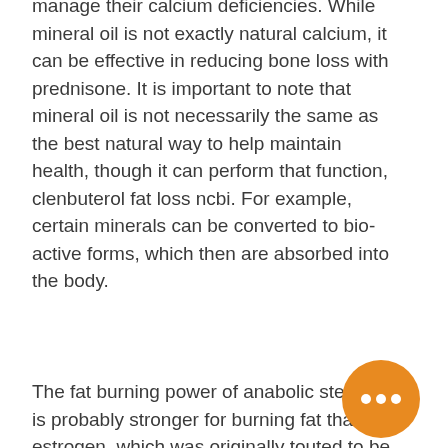manage their calcium deficiencies. While mineral oil is not exactly natural calcium, it can be effective in reducing bone loss with prednisone. It is important to note that mineral oil is not necessarily the same as the best natural way to help maintain health, though it can perform that function, clenbuterol fat loss ncbi. For example, certain minerals can be converted to bio-active forms, which then are absorbed into the body.
The fat burning power of anabolic steroids is probably stronger for burning fat than estrogen, which was originally touted to be much more power-generating.
So let's look at the effects of a steroid on testosterone levels. Testicular hormones